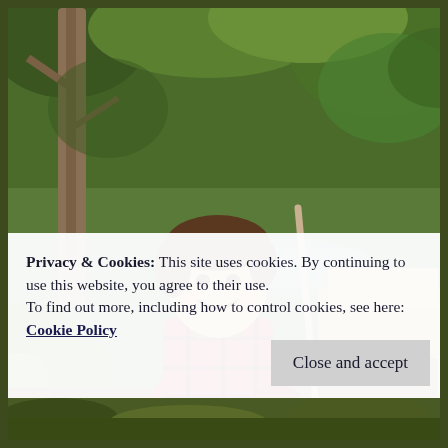[Figure (photo): A smiling young girl wearing a red and black plaid jacket holding a stick, standing near a creek in a forested area with green and brown foliage in the background.]
Privacy & Cookies: This site uses cookies. By continuing to use this website, you agree to their use.
To find out more, including how to control cookies, see here:
Cookie Policy
Close and accept